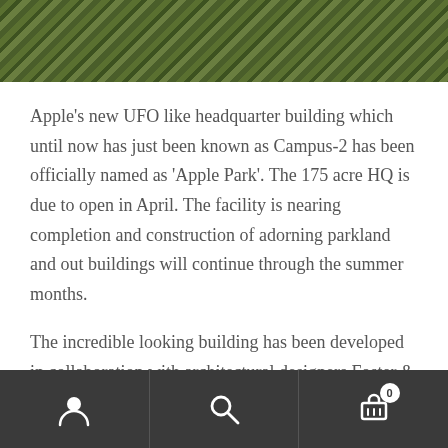[Figure (photo): Aerial view of a suburban neighborhood with trees and rooftops, partial image cut off at top of page]
Apple's new UFO like headquarter building which until now has just been known as Campus-2 has been officially named as 'Apple Park'.  The 175 acre HQ is due to open in April.   The facility is nearing completion and construction of adorning parkland and out buildings will continue through the summer months.
The incredible looking building has been developed in collaboration with architectural designers Foster & Partners and will replace 5 million square feet of concrete and tarmac with grassy fields and 9,000 drought resistant trees.
[Figure (screenshot): Mobile app bottom navigation bar with dark background containing three sections: user/account icon, search magnifying glass icon, and shopping cart icon with badge showing 0]